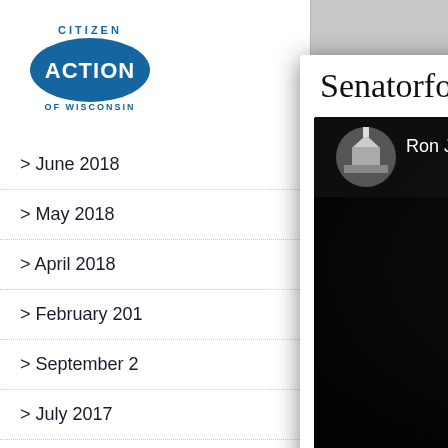[Figure (logo): Citizen Action of Wisconsin logo - blue oval with 'CITIZEN ACTION OF WISCONSIN' text]
> June 2018
> May 2018
> April 2018
> February 201
> September 2
> July 2017
> June 2017
> December 2016
Senatorforsale
[Figure (screenshot): YouTube video thumbnail showing black and white photo of Ron Johnson with text '#SENATORFORSALE' overlaid, red YouTube play button in center, video title 'Ron Johnson Fi...' shown at top]
CLOSE